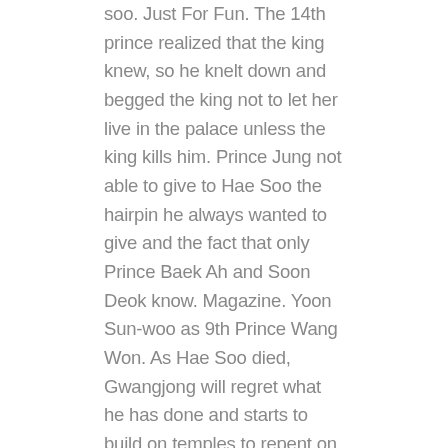soo. Just For Fun. The 14th prince realized that the king knew, so he knelt down and begged the king not to let her live in the palace unless the king kills him. Prince Jung not able to give to Hae Soo the hairpin he always wanted to give and the fact that only Prince Baek Ah and Soon Deok know. Magazine. Yoon Sun-woo as 9th Prince Wang Won. As Hae Soo died, Gwangjong will regret what he has done and starts to build on temples to repent on his actions. Fictional Character. The 8th prince. 8th Prince hugs Hae Soo!! He would help Wang Yo with his rebellion God damn it! He would fall into depression but would be helped by Wang So and they would get close to each other. He would train to fight again and be a general for his older brothers. There ... Hae Soo is one of the main characters of Moon